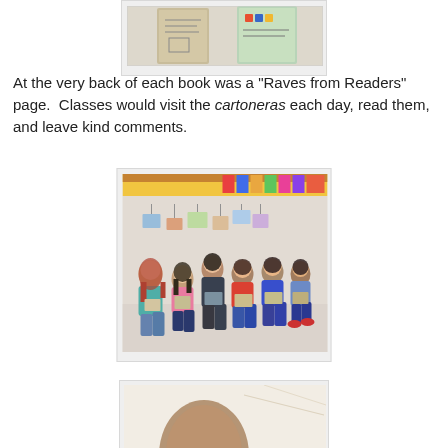[Figure (photo): Top portion of photo showing cartonera books standing upright, partially cropped at top of page]
At the very back of each book was a "Raves from Readers" page.  Classes would visit the cartoneras each day, read them, and leave kind comments.
[Figure (photo): Children sitting along a wall reading cartonera books, with colorful banners hanging above them]
[Figure (photo): Bottom partial photo showing what appears to be a child reading, cropped at bottom of page]